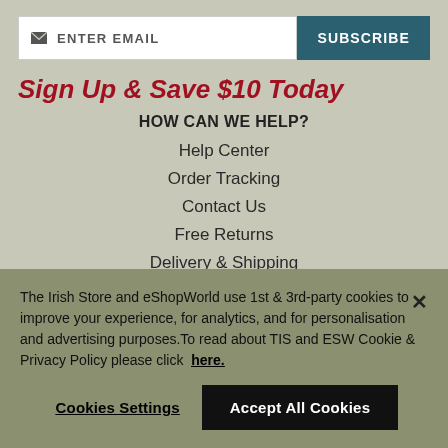ENTER EMAIL | SUBSCRIBE
Sign Up & Save $10 Today
HOW CAN WE HELP?
Help Center
Order Tracking
Contact Us
Free Returns
Delivery & Shipping
The Irish Store and eShopWorld use 1st & 3rd-party cookies to improve your experience, for analytics, and for personalisation and advertising purposes.To read about TIS and ESW Cookie & Privacy Policy please click here.
Cookies Settings | Accept All Cookies